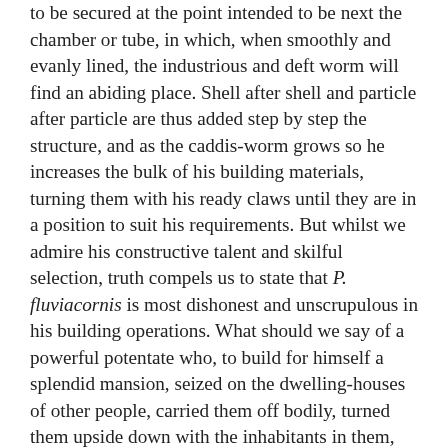to be secured at the point intended to be next the chamber or tube, in which, when smoothly and evanly lined, the industrious and deft worm will find an abiding place. Shell after shell and particle after particle are thus added step by step the structure, and as the caddis-worm grows so he increases the bulk of his building materials, turning them with his ready claws until they are in a position to suit his requirements. But whilst we admire his constructive talent and skilful selection, truth compels us to state that P. fluviacornis is most dishonest and unscrupulous in his building operations. What should we say of a powerful potentate who, to build for himself a splendid mansion, seized on the dwelling-houses of other people, carried them off bodily, turned them upside down with the inhabitants in them, and then cemented one on the other until the tyrant's stronghold was complete ? Such conduct, although highly reprehensive in the potentate, is most interesting and curious in a caddis-worm, who is perfectly indifferent as to whether the freshwater mollusk fixed on for building purposes is in his